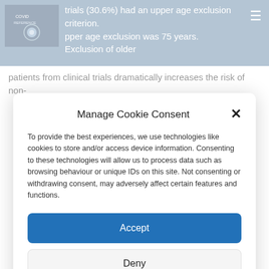trials (30.6%) had an upper age exclusion criterion. upper age exclusion was 75 years. Exclusion of older patients from clinical trials dramatically increases the risk of non-
Manage Cookie Consent
To provide the best experiences, we use technologies like cookies to store and/or access device information. Consenting to these technologies will allow us to process data such as browsing behaviour or unique IDs on this site. Not consenting or withdrawing consent, may adversely affect certain features and functions.
Accept
Deny
View preferences
Cookie Policy   Privacy Policy